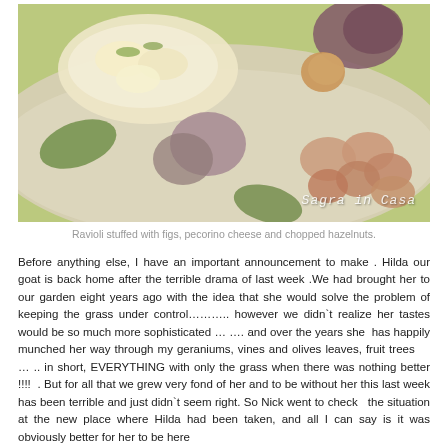[Figure (photo): Food photography showing ravioli stuffed with figs in a bowl, surrounded by figs, hazelnuts, and eggs on a light background. Watermark reads 'Sagra in Casa' in bottom right.]
Ravioli stuffed with figs, pecorino cheese and chopped hazelnuts.
Before anything else, I have an important announcement to make . Hilda our goat is back home after the terrible drama of last week .We had brought her to our garden eight years ago with the idea that she would solve the problem of keeping the grass under control……….. however we didn`t realize her tastes would be so much more sophisticated … …. and over the years she  has happily munched her way through my geraniums, vines and olives leaves, fruit trees    … .. in short, EVERYTHING with only the grass when there was nothing better !!!!  . But for all that we grew very fond of her and to be without her this last week has been terrible and just didn`t seem right. So Nick went to check  the situation at the new place where Hilda had been taken, and all I can say is it was obviously better for her to be here